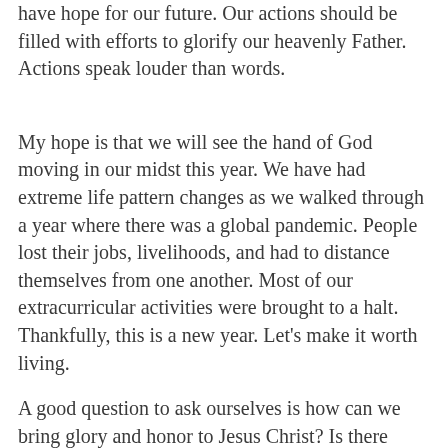have hope for our future. Our actions should be filled with efforts to glorify our heavenly Father.  Actions speak louder than words.
My hope is that we will see the hand of God moving in our midst this year. We have had extreme life pattern changes as we walked through a year where there was a global pandemic. People lost their jobs, livelihoods, and had to distance themselves from one another. Most of our extracurricular activities were brought to a halt. Thankfully, this is a new year. Let's make it worth living.
A good question to ask ourselves is how can we bring glory and honor to Jesus Christ? Is there something specific that the Lord is calling you or me to do? Are there actions that we can take to be more effective in ministry or in my work world. Can I do something to assist my family and friends in a positive direction?